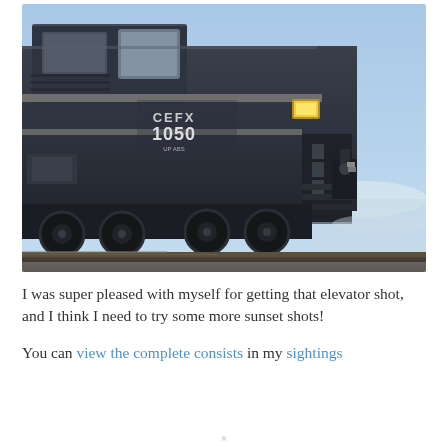[Figure (photo): A dark blue/grey CEFX 1050 locomotive photographed from a low angle, showing the front cab and undercarriage with wheels on a railway track, against a clear blue winter sky with snow visible on the ground.]
I was super pleased with myself for getting that elevator shot, and I think I need to try some more sunset shots!
You can view the complete consists in my sightings
×